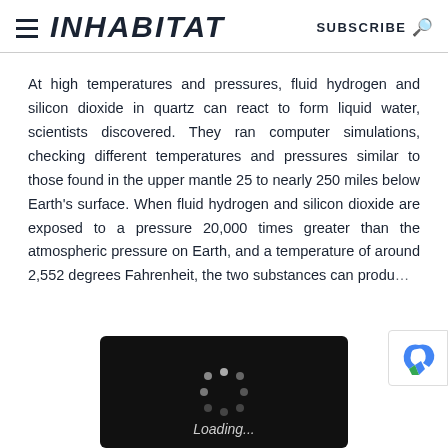INHABITAT — SUBSCRIBE
At high temperatures and pressures, fluid hydrogen and silicon dioxide in quartz can react to form liquid water, scientists discovered. They ran computer simulations, checking different temperatures and pressures similar to those found in the upper mantle 25 to nearly 250 miles below Earth's surface. When fluid hydrogen and silicon dioxide are exposed to a pressure 20,000 times greater than the atmospheric pressure on Earth, and a temperature of around 2,552 degrees Fahrenheit, the two substances can produ...
[Figure (screenshot): Loading spinner overlay with dark background showing spinning indicator and 'Loading...' text in italic]